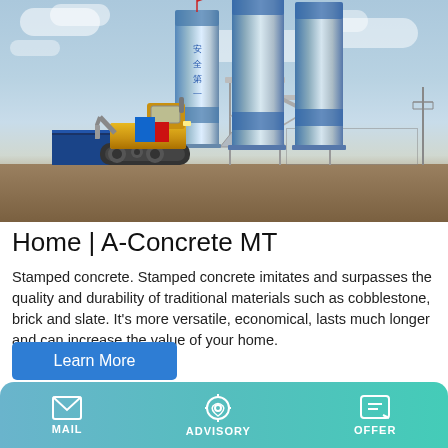[Figure (photo): Industrial concrete batching plant with blue and white silos, a yellow wheel loader in the foreground, a blue temporary office building on the left, steel framework structures, and cloudy sky. Chinese characters on silos.]
Home | A-Concrete MT
Stamped concrete. Stamped concrete imitates and surpasses the quality and durability of traditional materials such as cobblestone, brick and slate. It's more versatile, economical, lasts much longer and can increase the value of your home.
[Figure (screenshot): Learn More button (blue, partial)]
MAIL   ADVISORY   OFFER